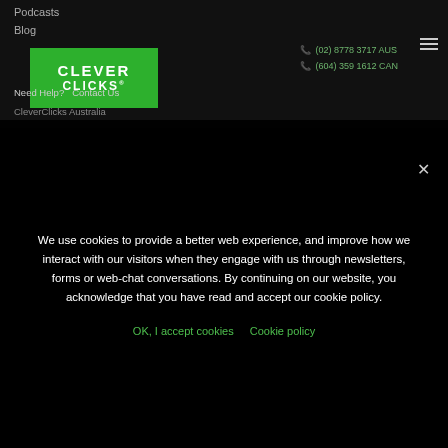Podcasts
Blog
[Figure (logo): Clever Clicks logo - white text on green background rectangle]
Need Help? Contact Us
CleverClicks Australia
(02) 8778 3717 AUS
(604) 359 1612 CAN
We use cookies to provide a better web experience, and improve how we interact with our visitors when they engage with us through newsletters, forms or web-chat conversations. By continuing on our website, you acknowledge that you have read and accept our cookie policy.
OK, I accept cookies   Cookie policy